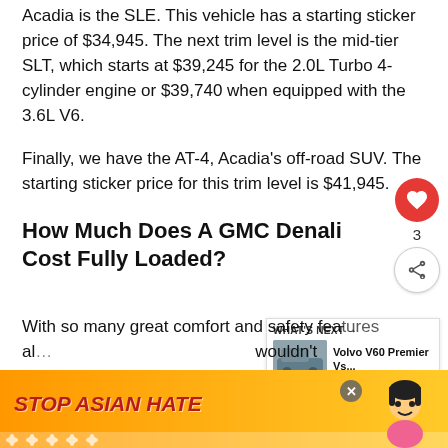Acadia is the SLE. This vehicle has a starting sticker price of $34,945. The next trim level is the mid-tier SLT, which starts at $39,245 for the 2.0L Turbo 4-cylinder engine or $39,740 when equipped with the 3.6L V6.
Finally, we have the AT-4, Acadia's off-road SUV. The starting sticker price for this trim level is $41,945.
How Much Does A GMC Denali Cost Fully Loaded?
With so many great comfort and safety features al... wouldn't
[Figure (other): Ad banner: STOP ASIAN HATE with orange/yellow background, cartoon figure, and close button]